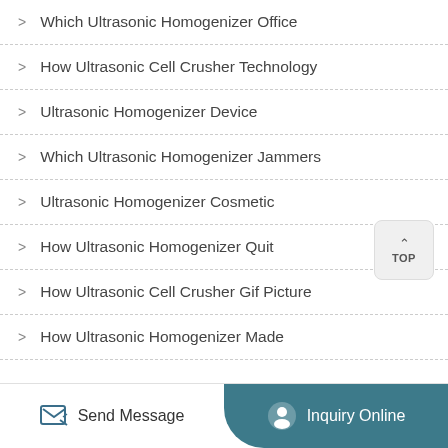Which Ultrasonic Homogenizer Office
How Ultrasonic Cell Crusher Technology
Ultrasonic Homogenizer Device
Which Ultrasonic Homogenizer Jammers
Ultrasonic Homogenizer Cosmetic
How Ultrasonic Homogenizer Quit
How Ultrasonic Cell Crusher Gif Picture
How Ultrasonic Homogenizer Made
Send Message  Inquiry Online